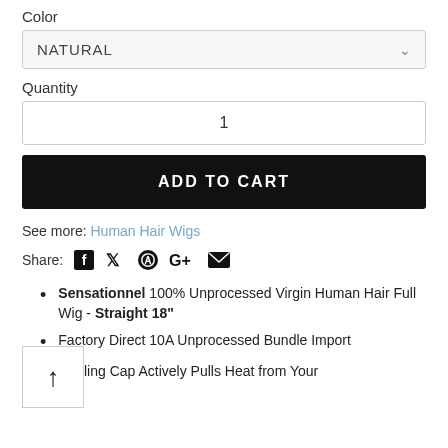Color
NATURAL
Quantity
1
ADD TO CART
See more: Human Hair Wigs
Share:
Sensationnel 100% Unprocessed Virgin Human Hair Full Wig - Straight 18"
Factory Direct 10A Unprocessed Bundle Import
Cooling Cap Actively Pulls Heat from Your